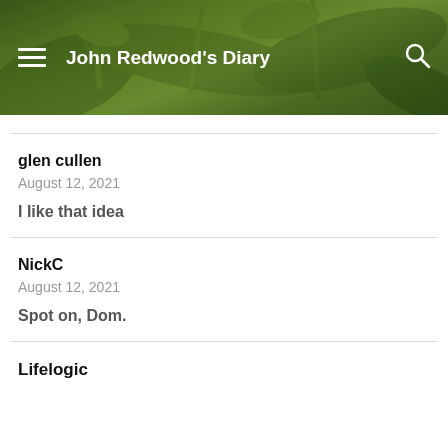John Redwood's Diary
glen cullen
August 12, 2021
I like that idea
NickC
August 12, 2021
Spot on, Dom.
Lifelogic